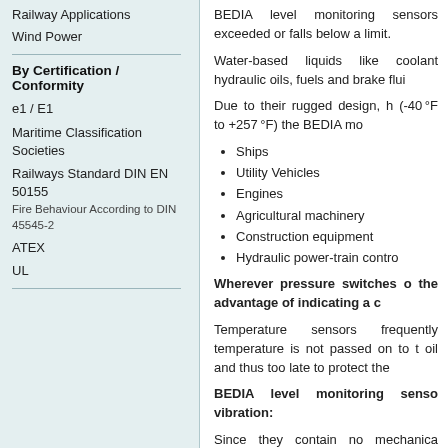Railway Applications
Wind Power
By Certification / Conformity
e1 / E1
Maritime Classification Societies
Railways Standard DIN EN 50155
Fire Behaviour According to DIN 45545-2
ATEX
UL
BEDIA level monitoring sensors exceeded or falls below a limit.
Water-based liquids like coolant hydraulic oils, fuels and brake flui
Due to their rugged design, h (-40°F to +257°F) the BEDIA mo
Ships
Utility Vehicles
Engines
Agricultural machinery
Construction equipment
Hydraulic power-train contro
Wherever pressure switches o the advantage of indicating a c
Temperature sensors frequently temperature is not passed on to t oil and thus too late to protect the
BEDIA level monitoring senso vibration:
Since they contain no mechanica electrical current is sent through possible.